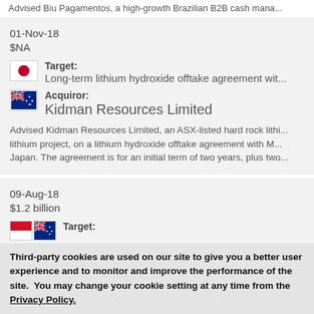Advised Biu Pagamentos, a high-growth Brazilian B2B cash mana...
01-Nov-18
$NA
Target: Long-term lithium hydroxide offtake agreement wit...
Acquiror: Kidman Resources Limited
Advised Kidman Resources Limited, an ASX-listed hard rock lithi... lithium project, on a lithium hydroxide offtake agreement with M... Japan. The agreement is for an initial term of two years, plus two...
09-Aug-18
$1.2 billion
Target:
Third-party cookies are used on our site to give you a better user experience and to monitor and improve the performance of the site.  You may change your cookie setting at any time from the Privacy Policy.